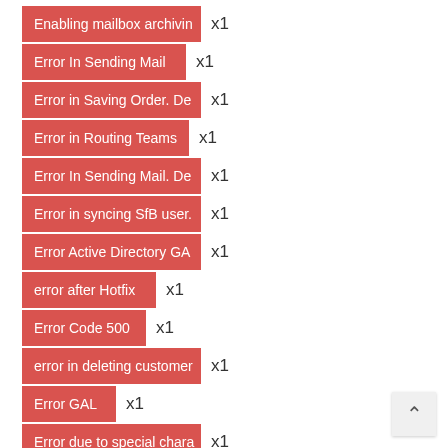Enabling mailbox archiving x1
Error In Sending Mail x1
Error in Saving Order. De... x1
Error in Routing Teams x1
Error In Sending Mail. De... x1
Error in syncing SfB user... x1
Error Active Directory GA... x1
error after Hotfix x1
Error Code 500 x1
error in deleting customer... x1
Error GAL x1
Error due to special chara... x1